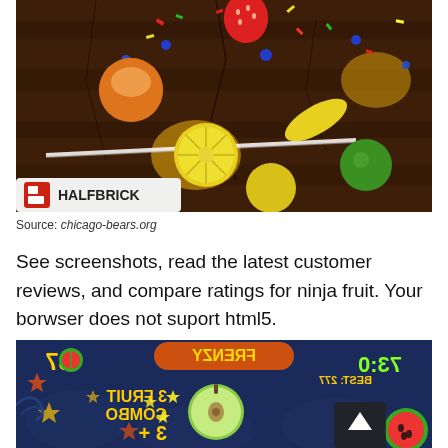[Figure (screenshot): Fruit Ninja game screenshot showing fruits being sliced with a blade, colorful confetti, with Halfbrick logo watermark at bottom left. Dark wooden background.]
Source: chicago-bears.org
See screenshots, read the latest customer reviews, and compare ratings for ninja fruit. Your borwser does not suport html5.
[Figure (screenshot): Fruit Ninja game screenshot shown in mirrored/flipped orientation showing FRENZY mode, score 87, BEST: 277, 3 FRUIT COMBO +3, with sliced apple and watermelon visible on dark blue background.]